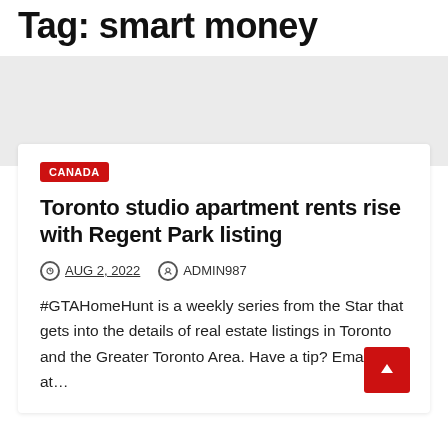Tag: smart money
#GTAHomeHunt is a weekly series from the Star that gets into the details of real estate listings in Toronto and the Greater Toronto Area. Have a tip? Email us at…
Toronto studio apartment rents rise with Regent Park listing
AUG 2, 2022  ADMIN987